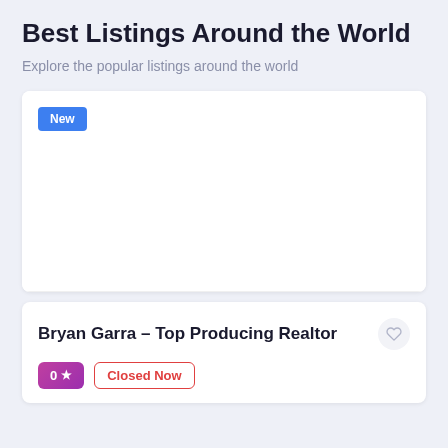Best Listings Around the World
Explore the popular listings around the world
[Figure (other): White card with a 'New' badge in blue at top-left, serving as a placeholder image area for a real estate listing]
Bryan Garra – Top Producing Realtor
0 ★   Closed Now